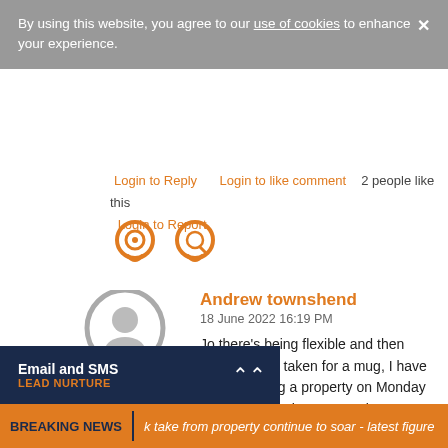By using this website, you agree to our use of cookies to enhance your experience.
Login to Reply    Login to like comment  2 people like this
Login to Report
[Figure (illustration): Two circular chat/comment icon buttons with orange outlines and gear/search symbols inside]
Andrew townshend
18 June 2022 16:19 PM
Jo there's being flexible and then there's being taken for a mug, I have a lady leaving a property on Monday she has been there 5 yrs always paying on time, she gave me a month's notice but not from a rent day I could have made her pay up to the 1st July, that's being leaving 1 month after moving is he P, there is a difference
Email and SMS
LEAD NURTURE
BREAKING NEWS  k take from property continue to soar - latest figure